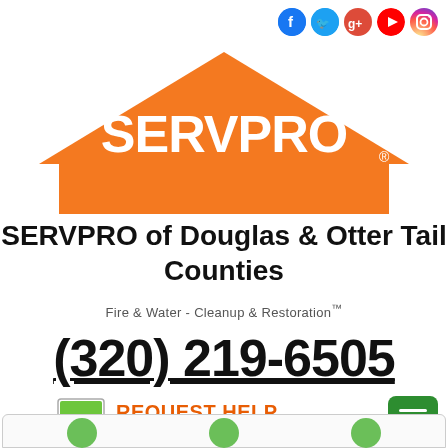[Figure (logo): Social media icons row: Facebook, Twitter, Google+, YouTube, Instagram]
[Figure (logo): SERVPRO logo — orange house roof shape with SERVPRO text in white]
SERVPRO of Douglas & Otter Tail Counties
Fire & Water - Cleanup & Restoration™
(320) 219-6505
[Figure (logo): Computer monitor icon with green screen next to REQUEST HELP ONLINE text]
[Figure (other): Green hamburger menu button]
[Figure (other): Bottom navigation bar with green circle icons]